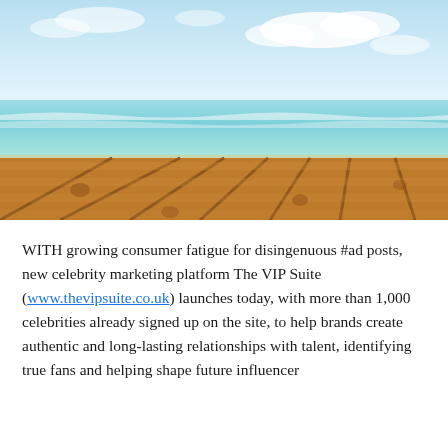[Figure (photo): Outdoor photo of a wooden pier/deck in the foreground with turquoise tropical ocean water and a light blue sky with clouds in the background.]
WITH growing consumer fatigue for disingenuous #ad posts, new celebrity marketing platform The VIP Suite (www.thevipsuite.co.uk) launches today, with more than 1,000 celebrities already signed up on the site, to help brands create authentic and long-lasting relationships with talent, identifying true fans and helping shape future influencer